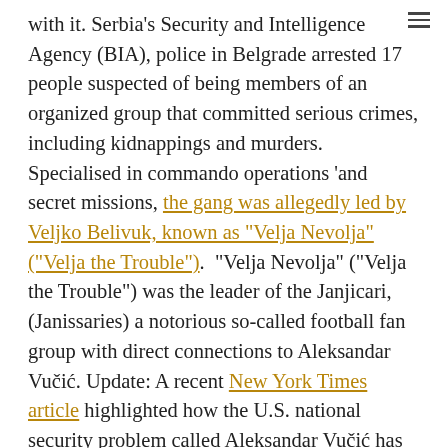with it. Serbia's Security and Intelligence Agency (BIA), police in Belgrade arrested 17 people suspected of being members of an organized group that committed serious crimes, including kidnappings and murders. Specialised in commando operations 'and secret missions, the gang was allegedly led by Veljko Belivuk, known as "Velja Nevolja" ("Velja the Trouble").  "Velja Nevolja" ("Velja the Trouble") was the leader of the Janjicari, (Janissaries) a notorious so-called football fan group with direct connections to Aleksandar Vučić. Update: A recent New York Times article highlighted how the U.S. national security problem called Aleksandar Vučić has reached epidemic proportions. A reputed gangster and leader of an "ultras" fan group, who also reportedly had ties to the government, has been arrested following a series of gruesome murders connected to a Belgrade